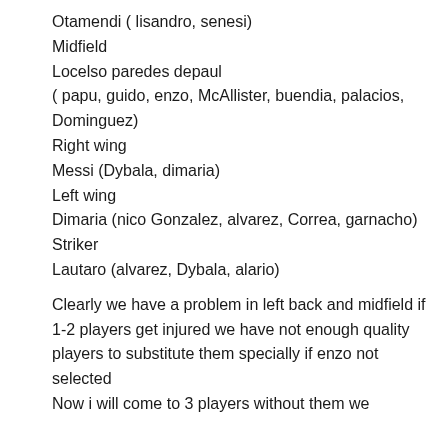Otamendi ( lisandro, senesi)
Midfield
Locelso paredes depaul
( papu, guido, enzo, McAllister, buendia, palacios, Dominguez)
Right wing
Messi (Dybala, dimaria)
Left wing
Dimaria (nico Gonzalez, alvarez, Correa, garnacho)
Striker
Lautaro (alvarez, Dybala, alario)
Clearly we have a problem in left back and midfield if 1-2 players get injured we have not enough quality players to substitute them specially if enzo not selected
Now i will come to 3 players without them we